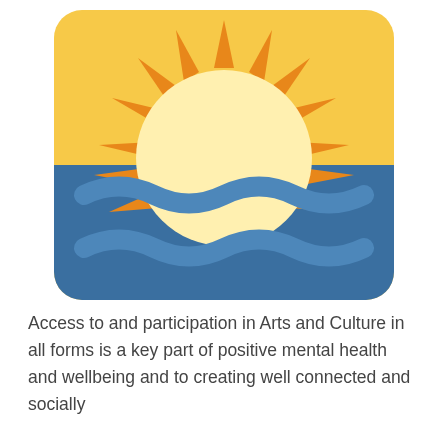[Figure (illustration): Emoji-style sunset over water illustration: rounded-rectangle with yellow/gold sky background, orange sun with triangular rays, pale yellow sun disc, and dark blue water area with two rows of wave shapes in lighter blue.]
Access to and participation in Arts and Culture in all forms is a key part of positive mental health and wellbeing and to creating well connected and socially